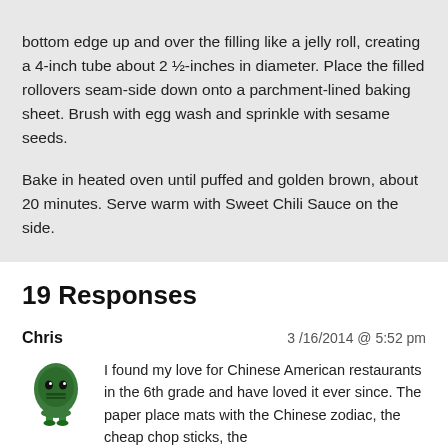bottom edge up and over the filling like a jelly roll, creating a 4-inch tube about 2 ½-inches in diameter. Place the filled rollovers seam-side down onto a parchment-lined baking sheet. Brush with egg wash and sprinkle with sesame seeds.
Bake in heated oven until puffed and golden brown, about 20 minutes. Serve warm with Sweet Chili Sauce on the side.
19 Responses
Chris
3 /16/2014 @ 5:52 pm
I found my love for Chinese American restaurants in the 6th grade and have loved it ever since. The paper place mats with the Chinese zodiac, the cheap chop sticks, the